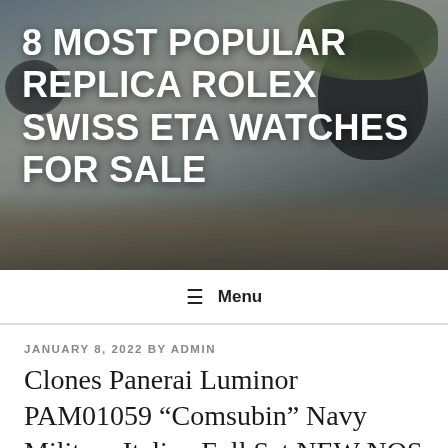[Figure (photo): Header banner with blurred background showing plants and a wooden surface, with dark overlay]
8 MOST POPULAR REPLICA ROLEX SWISS ETA WATCHES FOR SALE
☰ Menu
JANUARY 8, 2022 BY ADMIN
Clones Panerai Luminor PAM01059 “Comsubin” Navy Military Italian Full Set NEW NOS 2019 80% Off
Clones Panerai Luminor PAM01059 “Comsubin” Navy